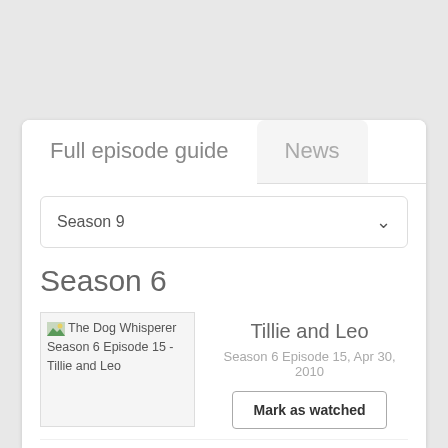Full episode guide
News
Season 9
Season 6
[Figure (screenshot): Thumbnail image placeholder for The Dog Whisperer Season 6 Episode 15 - Tillie and Leo]
Tillie and Leo
Season 6 Episode 15, Apr 30, 2010
Mark as watched
[Figure (screenshot): Thumbnail image placeholder for The Dog Whisperer Season 6 Episode 14 - Cobar and Chase]
Cobar and Chase
Season 6 Episode 14, Apr 23, 2010